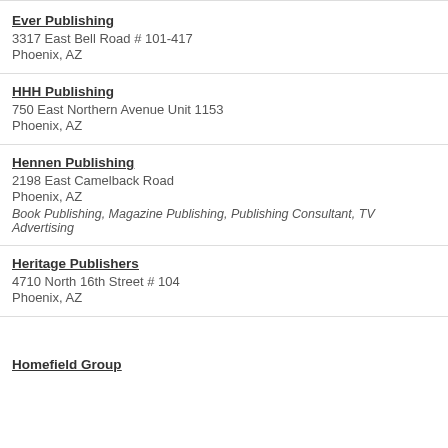Ever Publishing
3317 East Bell Road # 101-417
Phoenix, AZ
HHH Publishing
750 East Northern Avenue Unit 1153
Phoenix, AZ
Hennen Publishing
2198 East Camelback Road
Phoenix, AZ
Book Publishing, Magazine Publishing, Publishing Consultant, TV Advertising
Heritage Publishers
4710 North 16th Street # 104
Phoenix, AZ
Homefield Group